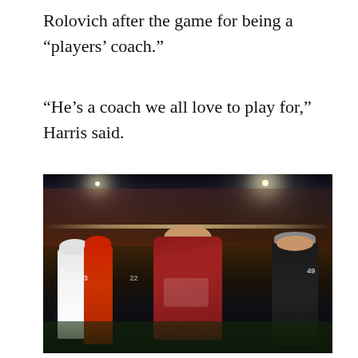Rolovich after the game for being a “players’ coach.”
“He’s a coach we all love to play for,” Harris said.
[Figure (photo): A man wearing a red Washington State Cougars hoodie and a dark face mask stands on a football field at night. He is surrounded by football players in white and dark uniforms. Stadium lights illuminate the scene with a crowd visible in the background.]